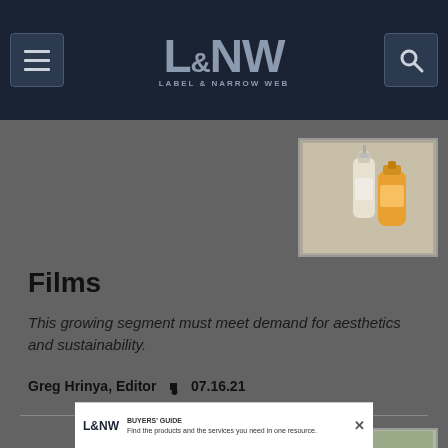L&NW Label & Narrow Web
[Figure (photo): Product photo showing two cosmetic/lotion bottles on light background]
Films
This growing segment must meet demand for aesthetics and sustainability.
Greg Hrinya, Editor • 07.16.21
[Figure (photo): Product photo showing colorful packaged goods or food products]
[Figure (other): L&NW Buyers Guide advertisement banner]